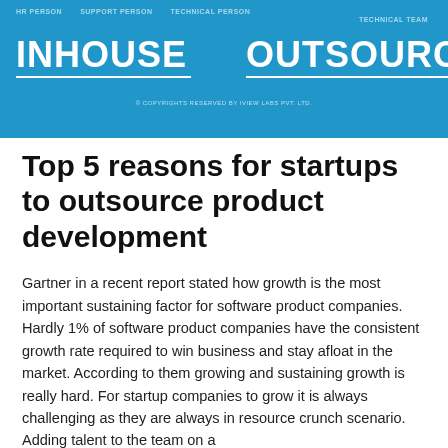[Figure (infographic): Blue header banner showing two columns: INHOUSE (with HR PERSON, SUPPORT PERSON, TECHNICAL PERSON labels) and OUTSOURCING (with TECHNICAL TEAM label), separated by a vertical divider line, with copyright notice at bottom of banner.]
Top 5 reasons for startups to outsource product development
Gartner in a recent report stated how growth is the most important sustaining factor for software product companies. Hardly 1% of software product companies have the consistent growth rate required to win business and stay afloat in the market. According to them growing and sustaining growth is really hard. For startup companies to grow it is always challenging as they are always in resource crunch scenario. Adding talent to the team on a